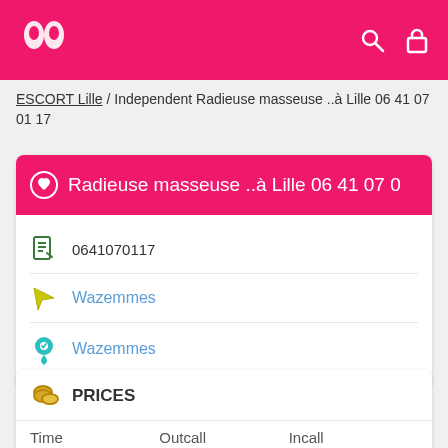Radieuse masseuse ..à Lille 06 41 07 0 [app header with logo, search and lock icons]
ESCORT Lille / Independent Radieuse masseuse ..à Lille 06 41 07 01 17
Radieuse masseuse ..à Lille 06 41 07 0
0641070117
Wazemmes
Wazemmes
PRICES
| Time | Outcall | Incall |
| --- | --- | --- |
| 1 hour | 140 | 160 |